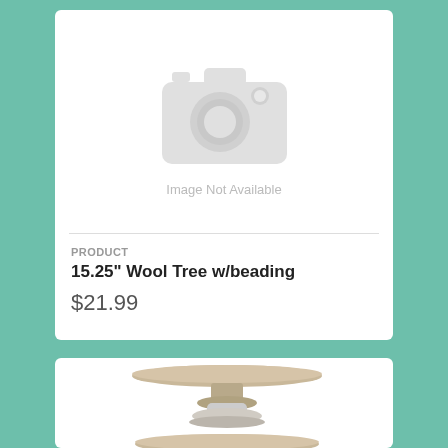[Figure (photo): Camera icon placeholder indicating image not available, with text 'Image Not Available' below]
PRODUCT
15.25" Wool Tree w/beading
$21.99
[Figure (photo): Two wooden cake stands stacked, with distressed white pedestal bases and natural wood tops, partially visible]